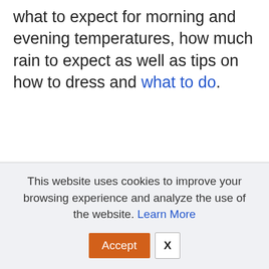what to expect for morning and evening temperatures, how much rain to expect as well as tips on how to dress and what to do.
This website uses cookies to improve your browsing experience and analyze the use of the website. Learn More